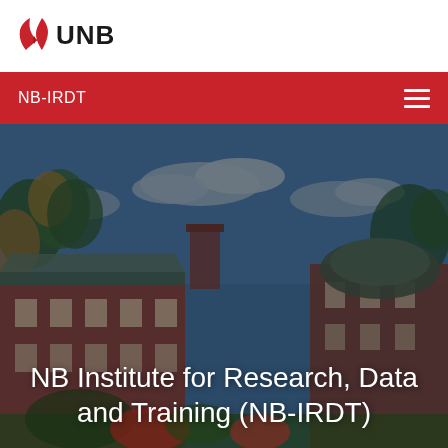[Figure (logo): UNB university logo with red flame/leaf symbol and UNB text in black]
NB-IRDT
[Figure (photo): Campus building photo showing red brick buildings with green metal roof, trees with autumn foliage, blue sky with clouds]
NB Institute for Research, Data and Training (NB-IRDT)